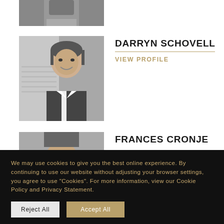[Figure (photo): Partial grayscale photo at top of page (first person, cropped)]
[Figure (photo): Grayscale portrait photo of Darryn Schovell, man in suit smiling]
DARRYN SCHOVELL
VIEW PROFILE
[Figure (photo): Partial grayscale portrait photo of Frances Cronje (cropped at bottom)]
FRANCES CRONJE
We may use cookies to give you the best online experience. By continuing to use our website without adjusting your browser settings, you agree to use “Cookies”. For more information, view our Cookie Policy and Privacy Statement.
Reject All
Accept All